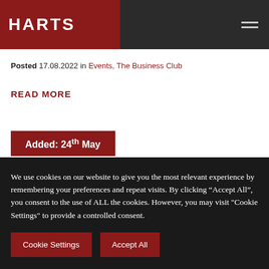HARTS
Posted 17.08.2022 in Events, The Business Club
READ MORE
[Figure (other): Red label banner reading 'Added: 24th May' overlaid on large decorative dark lettering 'To' with a grey circular arrow icon]
We use cookies on our website to give you the most relevant experience by remembering your preferences and repeat visits. By clicking "Accept All", you consent to the use of ALL the cookies. However, you may visit "Cookie Settings" to provide a controlled consent.
Cookie Settings    Accept All